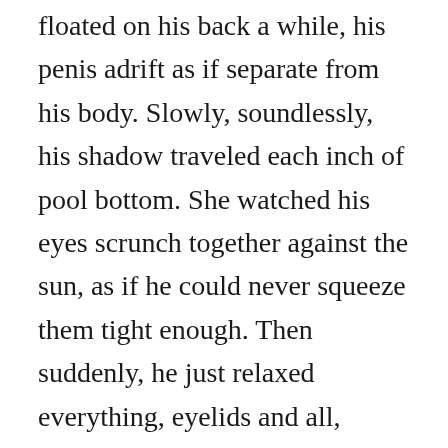floated on his back a while, his penis adrift as if separate from his body. Slowly, soundlessly, his shadow traveled each inch of pool bottom. She watched his eyes scrunch together against the sun, as if he could never squeeze them tight enough. Then suddenly, he just relaxed everything, eyelids and all, embracing the caress of damaging beams.
Time passed. She sat with her head tilted toward the sun, still as a praying mantis. He hoisted himself from the pool, splashing water.